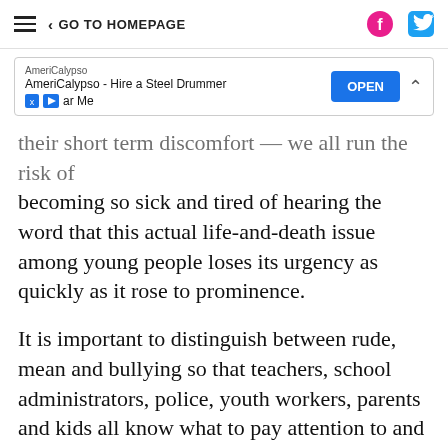GO TO HOMEPAGE
[Figure (screenshot): Advertisement banner for AmeriCalypso - Hire a Steel Drummer Near Me with an OPEN button]
their short term discomfort — we all run the risk of becoming so sick and tired of hearing the word that this actual life-and-death issue among young people loses its urgency as quickly as it rose to prominence.
It is important to distinguish between rude, mean and bullying so that teachers, school administrators, police, youth workers, parents and kids all know what to pay attention to and when to intervene. As we have heard too often in the news, a child's future may depend on a non-jaded adult's ability to discern between rudeness at the bus stop and life-altering bullying.